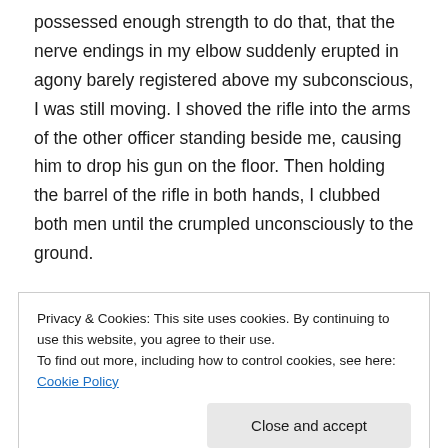possessed enough strength to do that, that the nerve endings in my elbow suddenly erupted in agony barely registered above my subconscious, I was still moving. I shoved the rifle into the arms of the other officer standing beside me, causing him to drop his gun on the floor. Then holding the barrel of the rifle in both hands, I clubbed both men until the crumpled unconsciously to the ground.
I was not seeing their faces as I hit them. It was not
Privacy & Cookies: This site uses cookies. By continuing to use this website, you agree to their use.
To find out more, including how to control cookies, see here: Cookie Policy
Close and accept
equip enough, and so forced these men into these